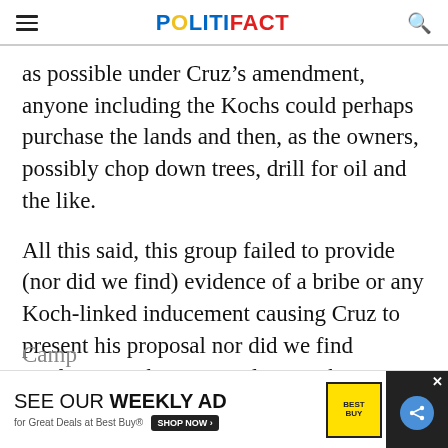POLITIFACT
as possible under Cruz’s amendment, anyone including the Kochs could perhaps purchase the lands and then, as the owners, possibly chop down trees, drill for oil and the like.
All this said, this group failed to provide (nor did we find) evidence of a bribe or any Koch-linked inducement causing Cruz to present his proposal nor did we find confirmation his proposal came about so pristine federal lands could be exploited.
Camp